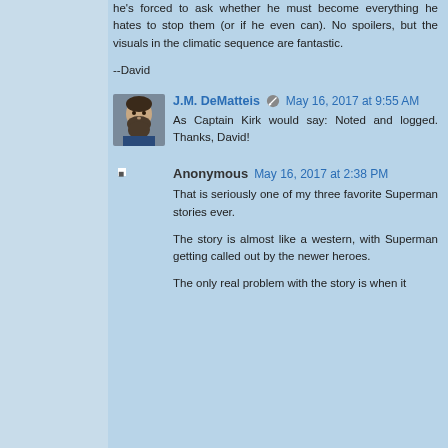he's forced to ask whether he must become everything he hates to stop them (or if he even can). No spoilers, but the visuals in the climatic sequence are fantastic.
--David
J.M. DeMatteis May 16, 2017 at 9:55 AM
As Captain Kirk would say: Noted and logged. Thanks, David!
Anonymous May 16, 2017 at 2:38 PM
That is seriously one of my three favorite Superman stories ever.
The story is almost like a western, with Superman getting called out by the newer heroes.
The only real problem with the story is when it